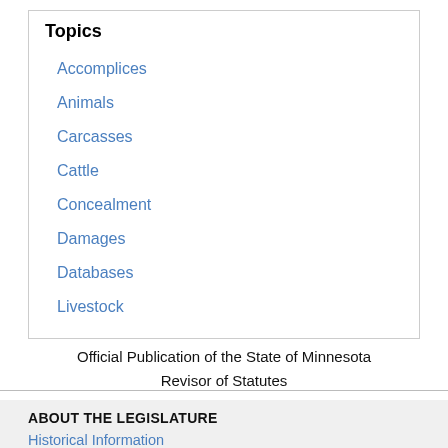Topics
Accomplices
Animals
Carcasses
Cattle
Concealment
Damages
Databases
Livestock
Official Publication of the State of Minnesota
Revisor of Statutes
ABOUT THE LEGISLATURE
Historical Information
Employment/Internships